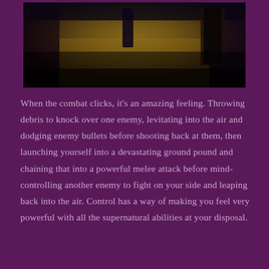[Figure (photo): A dark atmospheric screenshot from the video game Control, showing a figure standing in a corridor with a decorative golden tile floor, dim lighting with purple and amber tones.]
When the combat clicks, it's an amazing feeling. Throwing debris to knock over one enemy, levitating into the air and dodging enemy bullets before shooting back at them, then launching yourself into a devastating ground pound and chaining that into a powerful melee attack before mind-controlling another enemy to fight on your side and leaping back into the air. Control has a way of making you feel very powerful with all the supernatural abilities at your disposal.